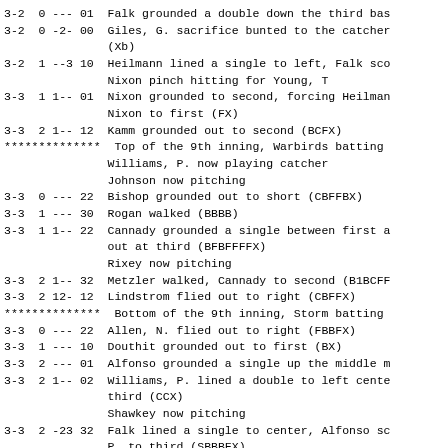3-2  0 --- 01  Falk grounded a double down the third bas
3-2  0 -2- 00  Giles, G. sacrifice bunted to the catcher (Xb)
3-2  1 --3 10  Heilmann lined a single to left, Falk sco
                Nixon pinch hitting for Young, T
3-3  1 1-- 01  Nixon grounded to second, forcing Heilman
                Nixon to first (FX)
3-3  2 1-- 12  Kamm grounded out to second (BCFX)
**************  Top of the 9th inning, Warbirds batting
                Williams, P. now playing catcher
                Johnson now pitching
3-3  0 --- 22  Bishop grounded out to short (CBFFBX)
3-3  1 --- 30  Rogan walked (BBBB)
3-3  1 1-- 22  Cannady grounded a single between first a
                out at third (BFBFFFFX)
                Rixey now pitching
3-3  2 1-- 32  Metzler walked, Cannady to second (B1BCF
3-3  2 12- 12  Lindstrom flied out to right (CBFFX)
**************  Bottom of the 9th inning, Storm batting
3-3  0 --- 22  Allen, N. flied out to right (FBBFX)
3-3  1 --- 10  Douthit grounded out to first (BX)
3-3  2 --- 01  Alfonso grounded a single up the middle
3-3  2 1-- 02  Williams, P. lined a double to left cente
                third (CCX)
                Shawkey now pitching
3-3  2 -23 32  Falk lined a single to center, Alfonso sc
                P. to third (SBBBFX)